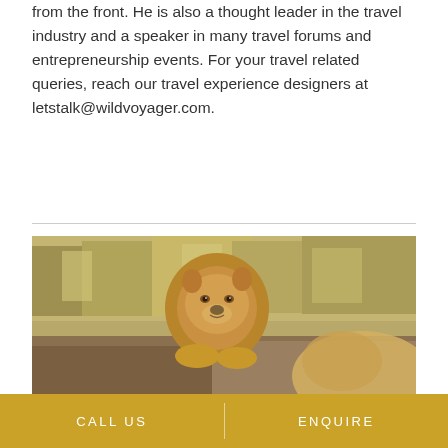from the front. He is also a thought leader in the travel industry and a speaker in many travel forums and entrepreneurship events. For your travel related queries, reach our travel experience designers at letstalk@wildvoyager.com.
[Figure (photo): Two lions resting on rocks in a savanna grassland setting. A male lion with a golden mane in the foreground faces the camera, with another lion (likely female) partially visible in the lower right.]
CALL US | ENQUIRE